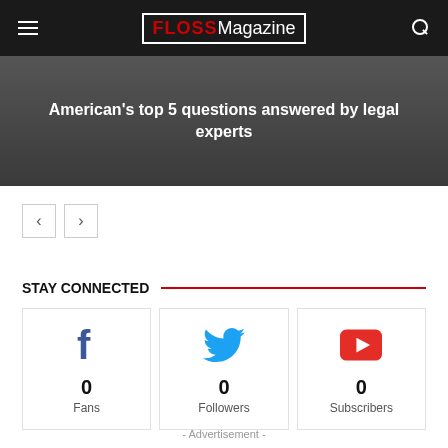FLOSS Magazine
American's top 5 questions answered by legal experts
STAY CONNECTED
0 Fans
0 Followers
0 Subscribers
- Advertisement -